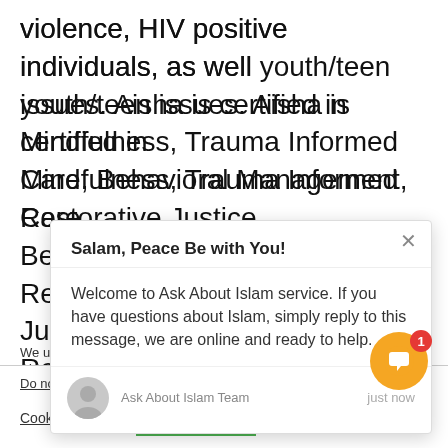violence, HIV positive individuals, as well youth/teen issues. Aisha is certified in Mindfulness, Trauma Informed Care, Behavioral Management, Restorative Justice/Healing Circles, Conflict Resolution & Secondary Traumatic Stress Coach and facilitator. Coach...
We use ... ALL the cookies.
Do not sell my personal information.
Cookie settings   ACCEPT
[Figure (screenshot): Chat popup with greeting 'Salam, Peace Be with You!' and message 'Welcome to Ask About Islam service. If you have questions about Islam, simply reply to this message, we are online and ready to help.' from Ask About Islam Team, just now. X close button visible top right.]
[Figure (illustration): Orange circular chat bubble button with white speech bubble icon and red badge showing '1' notification count.]